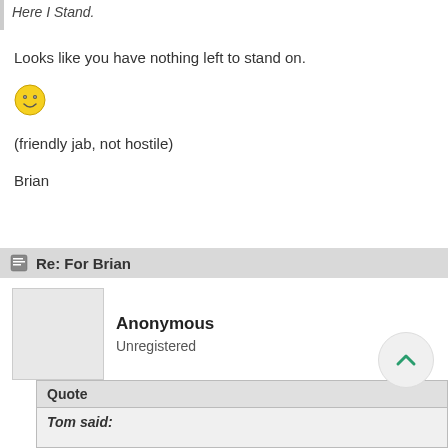Here I Stand.
Looks like you have nothing left to stand on.
[Figure (illustration): Smiley face emoji]
(friendly jab, not hostile)
Brian
Re: For Brian
Anonymous
Unregistered
Quote
Tom said: